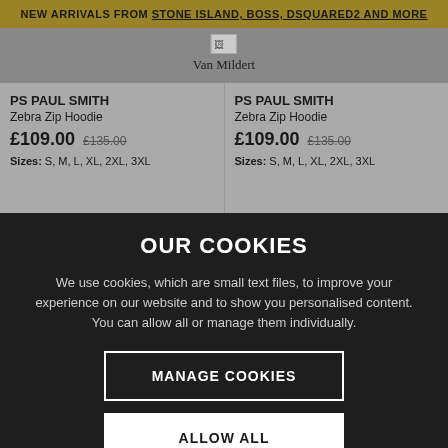NEW ARRIVALS FROM STONE ISLAND, BOSS, DSQUARED2 AND MORE
[Figure (logo): Van Mildert logo with broken image icon and brand name text]
PS PAUL SMITH
Zebra Zip Hoodie
£109.00 £135.00
Sizes: S, M, L, XL, 2XL, 3XL
PS PAUL SMITH
Zebra Zip Hoodie
£109.00 £135.00
Sizes: S, M, L, XL, 2XL, 3XL
OUR COOKIES
We use cookies, which are small text files, to improve your experience on our website and to show you personalised content. You can allow all or manage them individually.
MANAGE COOKIES
ALLOW ALL